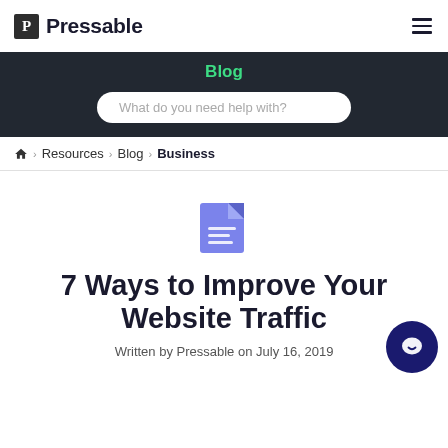Pressable
Blog
What do you need help with?
🏠 > Resources > Blog > Business
[Figure (illustration): Blue document/file icon with lines representing text]
7 Ways to Improve Your Website Traffic
Written by Pressable on July 16, 2019